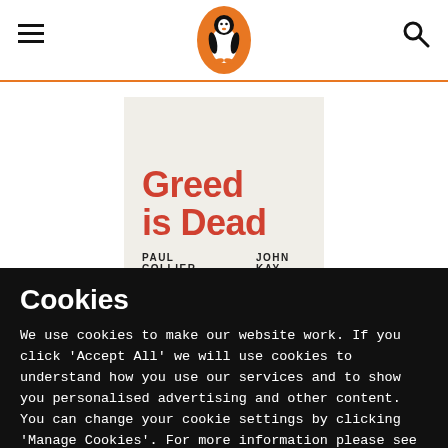[Figure (logo): Penguin Books logo: penguin inside an orange oval, navigation icons]
[Figure (photo): Book cover of 'Greed is Dead' by Paul Collier and John Kay, light grey-beige background with large red bold title text]
Cookies
We use cookies to make our website work. If you click 'Accept All' we will use cookies to understand how you use our services and to show you personalised advertising and other content. You can change your cookie settings by clicking 'Manage Cookies'. For more information please see our cookie policy